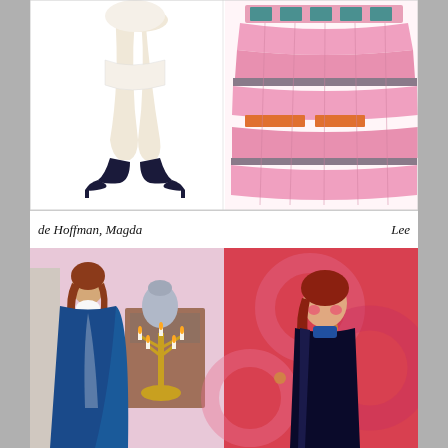[Figure (illustration): Fashion illustration sketch showing two figures from the waist down, wearing heels, with legs posed. On the right side, a detailed pink ruffled/pleated skirt with teal/green rectangular decorative elements. White background.]
de Hoffman, Magda   Lee
[Figure (illustration): Split image: left side shows a fashion illustration of a woman with auburn/red hair wearing a long blue cape/coat, standing in a Victorian-style room with a gold candelabra and brown furniture against a pink wall. Right side shows a doll or figurine with red hair wearing a dark navy coat, posed against a colorful red/pink floral patterned background.]